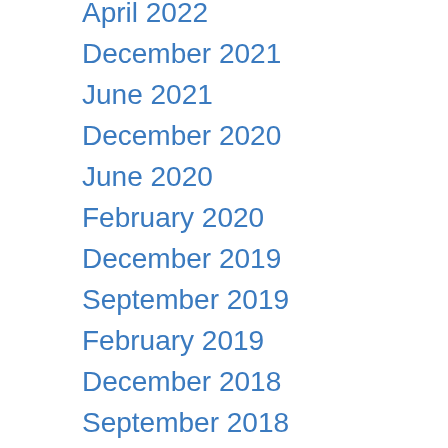April 2022
December 2021
June 2021
December 2020
June 2020
February 2020
December 2019
September 2019
February 2019
December 2018
September 2018
May 2018
December 2017
November 2017
May 2017